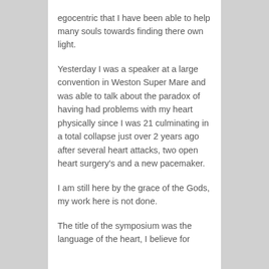egocentric that I have been able to help many souls towards finding there own light.

Yesterday I was a speaker at a large convention in Weston Super Mare and was able to talk about the paradox of having had problems with my heart physically since I was 21 culminating in a total collapse just over 2 years ago after several heart attacks, two open heart surgery's and a new pacemaker.

I am still here by the grace of the Gods, my work here is not done.

The title of the symposium was the language of the heart, I believe for